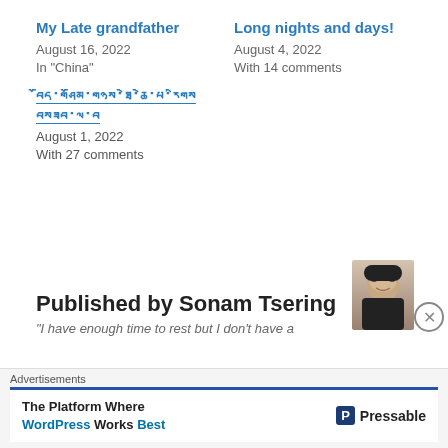My Late grandfather
August 16, 2022
In "China"
Long nights and days!
August 4, 2022
With 14 comments
[Tibetan title line 1]
[Tibetan title line 2]
August 1, 2022
With 27 comments
Published by Sonam Tsering
"I have enough time to rest but I don't have a
Advertisements
The Platform Where WordPress Works Best